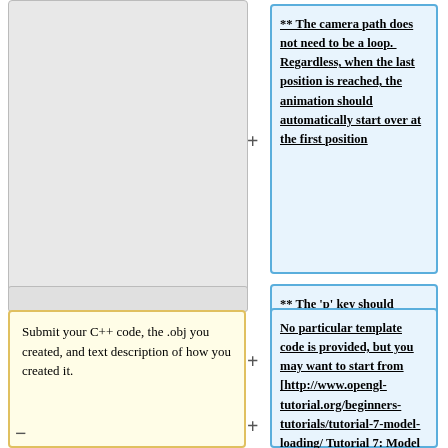** The camera path does not need to be a loop.  Regardless, when the last position is reached, the animation should automatically start over at the first position
** The 'p' key should toggle pause/play in the animation.  In pause mode the camera should not move
Submit your C++ code, the .obj you created, and text description of how you created it.
No particular template code is provided, but you may want to start from [http://www.opengl-tutorial.org/beginners-tutorials/tutorial-7-model-loading/ Tutorial 7: Model Loading]. Submit your C++...